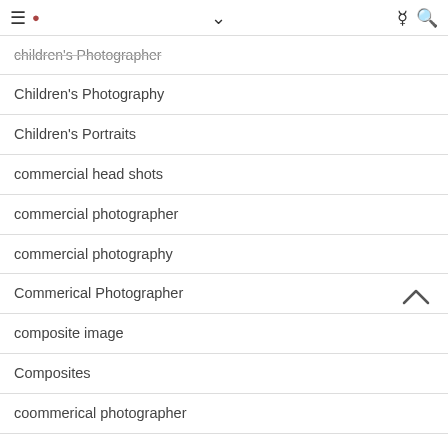≡ 🔔 ∨ ☾ 🔍
children's Photographer
Children's Photography
Children's Portraits
commercial head shots
commercial photographer
commercial photography
Commerical Photographer
composite image
Composites
coommerical photographer